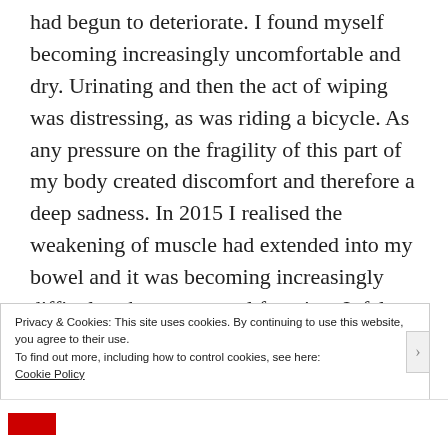had begun to deteriorate. I found myself becoming increasingly uncomfortable and dry. Urinating and then the act of wiping was distressing, as was riding a bicycle. As any pressure on the fragility of this part of my body created discomfort and therefore a deep sadness. In 2015 I realised the weakening of muscle had extended into my bowel and it was becoming increasingly difficult to have a normal function. It felt like I couldn't push or
Privacy & Cookies: This site uses cookies. By continuing to use this website, you agree to their use.
To find out more, including how to control cookies, see here:
Cookie Policy
Close and accept